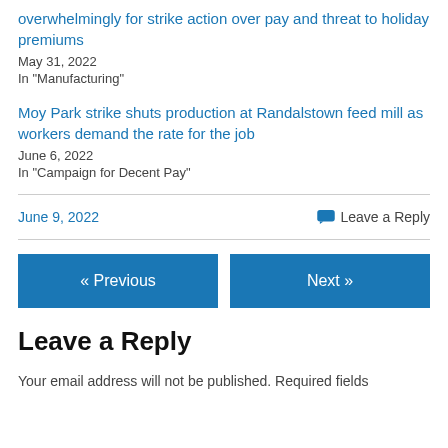overwhelmingly for strike action over pay and threat to holiday premiums
May 31, 2022
In "Manufacturing"
Moy Park strike shuts production at Randalstown feed mill as workers demand the rate for the job
June 6, 2022
In "Campaign for Decent Pay"
June 9, 2022
Leave a Reply
« Previous
Next »
Leave a Reply
Your email address will not be published. Required fields